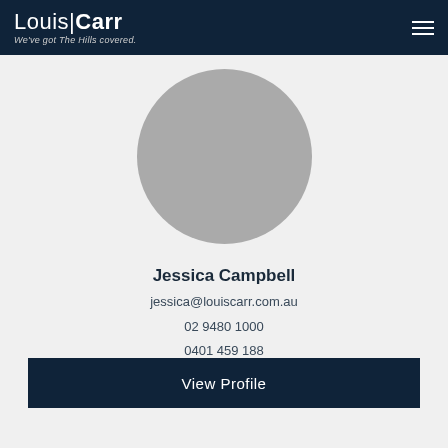Louis|Carr — We've got The Hills covered.
[Figure (photo): Circular profile photo placeholder (grey circle)]
Jessica Campbell
jessica@louiscarr.com.au
02 9480 1000
0401 459 188
View Profile